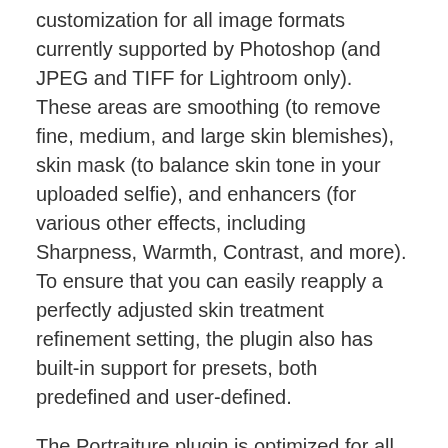customization for all image formats currently supported by Photoshop (and JPEG and TIFF for Lightroom only). These areas are smoothing (to remove fine, medium, and large skin blemishes), skin mask (to balance skin tone in your uploaded selfie), and enhancers (for various other effects, including Sharpness, Warmth, Contrast, and more). To ensure that you can easily reapply a perfectly adjusted skin treatment refinement setting, the plugin also has built-in support for presets, both predefined and user-defined.
The Portraiture plugin is optimized for all recent versions of the Windows operating system (7, 8, and 10) and can be integrated into the latest photo editing applications created by Adobe: Photoshop CC 2015.5 / 2017/2018 and Lightroom CC 2015 / Classic DC. The plugin is only offered under a premium perpetual license for each supported application, with a significant discount for the purchase of bulk access to Photoshop and Lightroom. The latest version of Portraiture is not available with a free trial